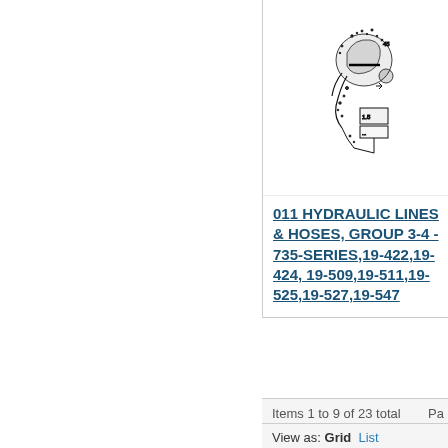[Figure (schematic): Hydraulic lines and hoses schematic diagram for group 3-4, 735-series (item 011)]
011 HYDRAULIC LINES & HOSES, GROUP 3-4 - 735-SERIES,19-422,19-424,19-509,19-511,19-525,19-527,19-547
[Figure (schematic): Hydraulic lines and hoses schematic diagram (item 012), partially visible]
012 HY... LINES ... GROUP... SERIES, 19-515,...
Items 1 to 9 of 23 total
Pa...
View as: Grid  List